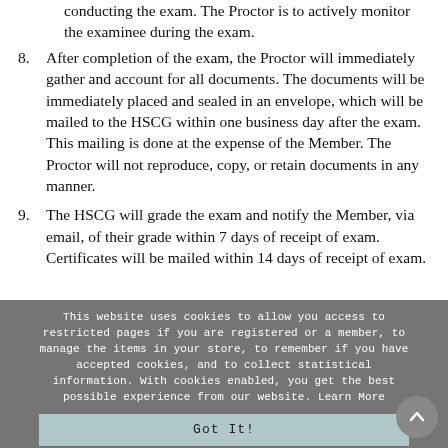(partial) conducting the exam. The Proctor is to actively monitor the examinee during the exam.
8. After completion of the exam, the Proctor will immediately gather and account for all documents. The documents will be immediately placed and sealed in an envelope, which will be mailed to the HSCG within one business day after the exam. This mailing is done at the expense of the Member. The Proctor will not reproduce, copy, or retain documents in any manner.
9. The HSCG will grade the exam and notify the Member, via email, of their grade within 7 days of receipt of exam. Certificates will be mailed within 14 days of receipt of exam.
This website uses cookies to allow you access to restricted pages if you are registered or a member, to manage the items in your store, to remember if you have accepted cookies, and to collect statistical information. With cookies enabled, you get the best possible experience from our website. Learn More
Got It!